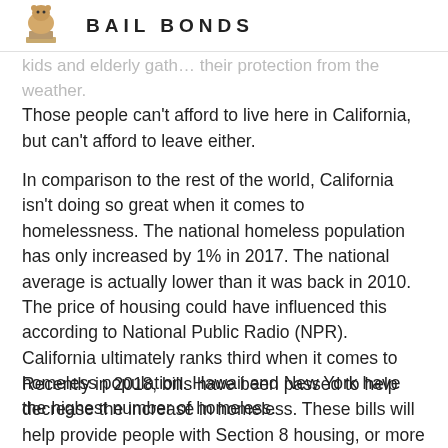BAIL BONDS
kids and elderly gath… their protection from the weather. Those people can't afford to live here in California, but can't afford to leave either.
In comparison to the rest of the world, California isn't doing so great when it comes to homelessness. The national homeless population has only increased by 1% in 2017. The national average is actually lower than it was back in 2010. The price of housing could have influenced this according to National Public Radio (NPR). California ultimately ranks third when it comes to homeless population. Hawaii and New York have the highest number of homeless.
Recently in 2018, bills have been passed to help decrease the increase in homeless. These bills will help provide people with Section 8 housing, or more government assistance. This is meant to help with California's